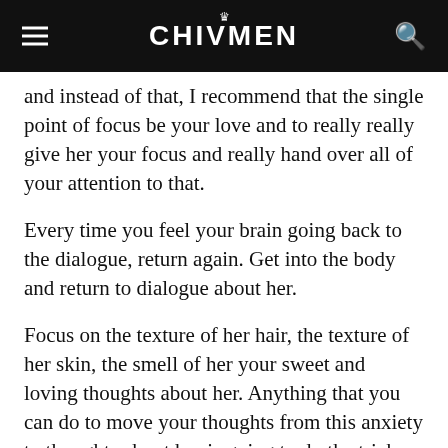CHIVMEN
and instead of that, I recommend that the single point of focus be your love and to really really give her your focus and really hand over all of your attention to that.
Every time you feel your brain going back to the dialogue, return again. Get into the body and return to dialogue about her.
Focus on the texture of her hair, the texture of her skin, the smell of her your sweet and loving thoughts about her. Anything that you can do to move your thoughts from this anxiety to thoughts about her is going to do the trick now.
5. There are other options to deal with performance anxiety